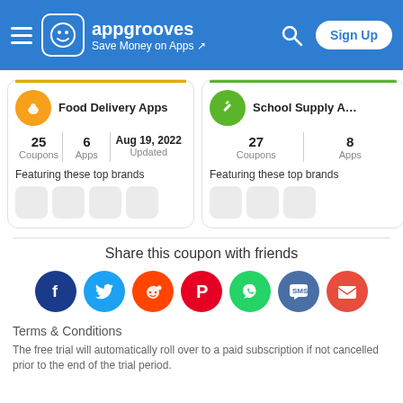appgrooves — Save Money on Apps — Sign Up
[Figure (screenshot): Food Delivery Apps card: 25 Coupons, 6 Apps, Aug 19 2022 Updated, Featuring these top brands with placeholder icons]
[Figure (screenshot): School Supply Apps card (partially visible): 27 Coupons, 8 Apps, Featuring these top brands with placeholder icons]
Share this coupon with friends
[Figure (infographic): Row of social share icons: Facebook, Twitter, Reddit, Pinterest, WhatsApp, SMS, Email]
Terms & Conditions
The free trial will automatically roll over to a paid subscription if not cancelled prior to the end of the trial period.